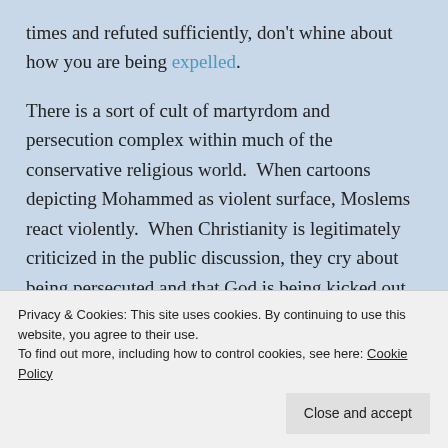times and refuted sufficiently, don't whine about how you are being expelled. There is a sort of cult of martyrdom and persecution complex within much of the conservative religious world. When cartoons depicting Mohammed as violent surface, Moslems react violently. When Christianity is legitimately criticized in the public discussion, they cry about being persecuted and that God is being kicked out of society. This is silly. If their god exists, there would be nothing one could ever do to kick it out. Nobody is
Privacy & Cookies: This site uses cookies. By continuing to use this website, you agree to their use.
To find out more, including how to control cookies, see here: Cookie Policy